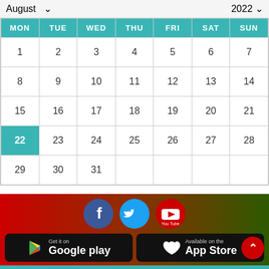August  2022
| MON | TUE | WED | THU | FRI | SAT | SUN |
| --- | --- | --- | --- | --- | --- | --- |
| 1 | 2 | 3 | 4 | 5 | 6 | 7 |
| 8 | 9 | 10 | 11 | 12 | 13 | 14 |
| 15 | 16 | 17 | 18 | 19 | 20 | 21 |
| 22 | 23 | 24 | 25 | 26 | 27 | 28 |
| 29 | 30 | 31 |  |  |  |  |
[Figure (screenshot): App store download banner with Facebook, Twitter, YouTube social icons and Google Play / App Store download buttons on a red-to-green gradient background]